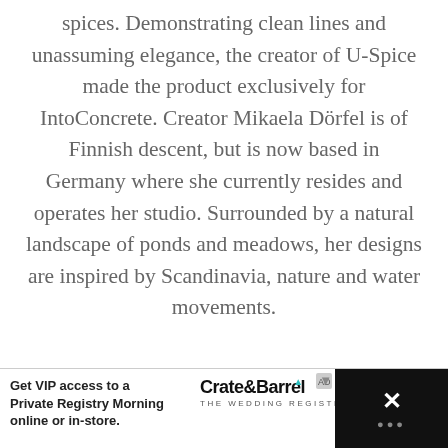spices. Demonstrating clean lines and unassuming elegance, the creator of U-Spice made the product exclusively for IntoConcrete. Creator Mikaela Dörfel is of Finnish descent, but is now based in Germany where she currently resides and operates her studio. Surrounded by a natural landscape of ponds and meadows, her designs are inspired by Scandinavia, nature and water movements.
[Figure (screenshot): UI widget area: teal heart/like button with count '9', share button, and 'What's Next' card showing 'Modern courtyard...' with thumbnail image]
[Figure (screenshot): Advertisement banner: 'Get VIP access to a Private Registry Morning online or in-store.' with Crate & Barrel The Wedding Registry branding, and dark panel on right with X close button]